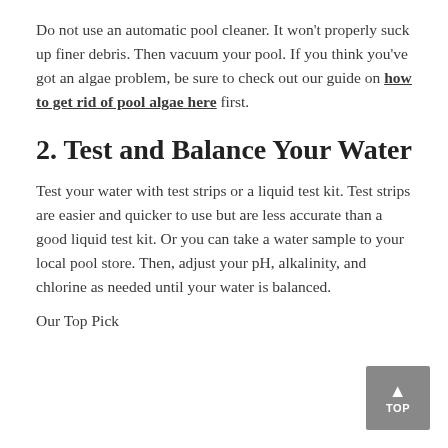Do not use an automatic pool cleaner. It won't properly suck up finer debris. Then vacuum your pool. If you think you've got an algae problem, be sure to check out our guide on how to get rid of pool algae here first.
2. Test and Balance Your Water
Test your water with test strips or a liquid test kit. Test strips are easier and quicker to use but are less accurate than a good liquid test kit. Or you can take a water sample to your local pool store. Then, adjust your pH, alkalinity, and chlorine as needed until your water is balanced.
Our Top Pick